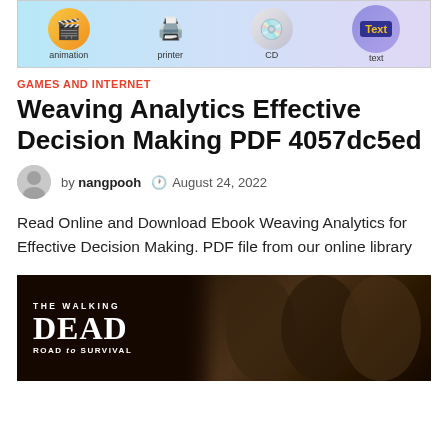[Figure (illustration): Banner advertisement with animation, printer, CD, and Text icons on a light blue/purple gradient background]
GAMES AND INTERNET
Weaving Analytics Effective Decision Making PDF 4057dc5ed
by nangpooh  August 24, 2022
Read Online and Download Ebook Weaving Analytics for Effective Decision Making. PDF file from our online library
[Figure (photo): The Walking Dead: Road to Survival game banner with characters against dark background]